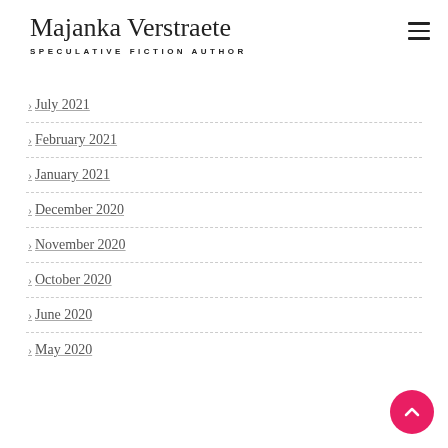Majanka Verstraete — SPECULATIVE FICTION AUTHOR
> July 2021
> February 2021
> January 2021
> December 2020
> November 2020
> October 2020
> June 2020
> May 2020